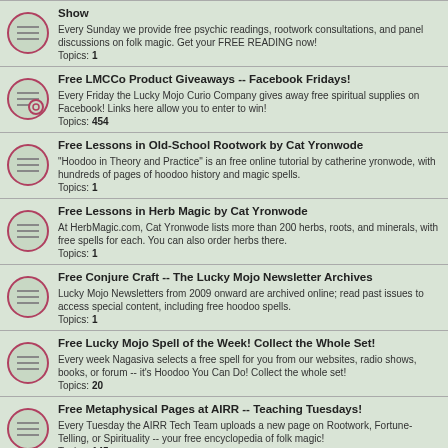Show
Every Sunday we provide free psychic readings, rootwork consultations, and panel discussions on folk magic. Get your FREE READING now!
Topics: 1
Free LMCCo Product Giveaways -- Facebook Fridays!
Every Friday the Lucky Mojo Curio Company gives away free spiritual supplies on Facebook! Links here allow you to enter to win!
Topics: 454
Free Lessons in Old-School Rootwork by Cat Yronwode
"Hoodoo in Theory and Practice" is an free online tutorial by catherine yronwode, with hundreds of pages of hoodoo history and magic spells.
Topics: 1
Free Lessons in Herb Magic by Cat Yronwode
At HerbMagic.com, Cat Yronwode lists more than 200 herbs, roots, and minerals, with free spells for each. You can also order herbs there.
Topics: 1
Free Conjure Craft -- The Lucky Mojo Newsletter Archives
Lucky Mojo Newsletters from 2009 onward are archived online; read past issues to access special content, including free hoodoo spells.
Topics: 1
Free Lucky Mojo Spell of the Week! Collect the Whole Set!
Every week Nagasiva selects a free spell for you from our websites, radio shows, books, or forum -- it's Hoodoo You Can Do! Collect the whole set!
Topics: 20
Free Metaphysical Pages at AIRR -- Teaching Tuesdays!
Every Tuesday the AIRR Tech Team uploads a new page on Rootwork, Fortune-Telling, or Spirituality -- your free encyclopedia of folk magic!
Topics: 145